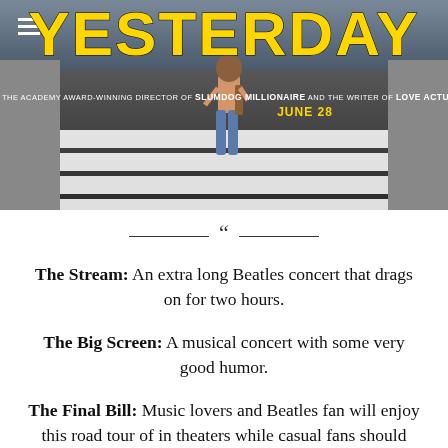[Figure (photo): Movie poster for 'Yesterday' showing a man walking across a zebra crossing (Abbey Road style), with large yellow title text 'YESTERDAY', subtitle 'From the Academy Award-winning director of SLUMDOG MILLIONAIRE and the writer of LOVE ACTUALLY', and release date 'JUNE 28']
The Stream: An extra long Beatles concert that drags on for two hours. The Big Screen: A musical concert with some very good humor. The Final Bill: Music lovers and Beatles fan will enjoy this road tour of in theaters while casual fans should save some bucks by streaming it. -S2S